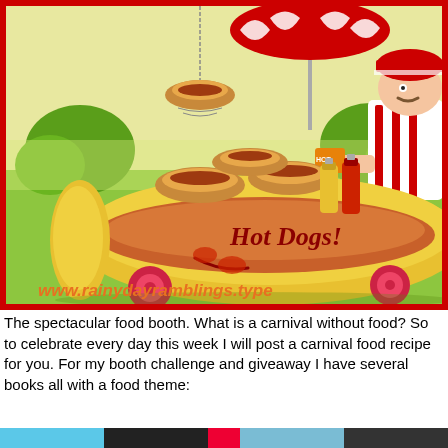[Figure (illustration): Cartoon illustration of a hot dog food booth cart with 'Hot Dogs!' written on the side in red cursive lettering. The cart is yellow and shaped like a hot dog/bun. A cartoon vendor wearing a red and white striped outfit and cap stands behind the cart. Hot dog buns with toppings are displayed on top. Mustard and ketchup bottles are visible. A red and white striped umbrella is above. A hanging hot dog sign is visible. The background shows a green park with trees and light yellow sky. The bottom of the image shows the URL www.rainydayramblings.type in orange text. The whole image is bordered with a thick red frame.]
The spectacular food booth.  What is a carnival without food?  So to celebrate every day this week I will post a carnival food recipe for you.  For my booth challenge and giveaway I have several books all with a food theme: